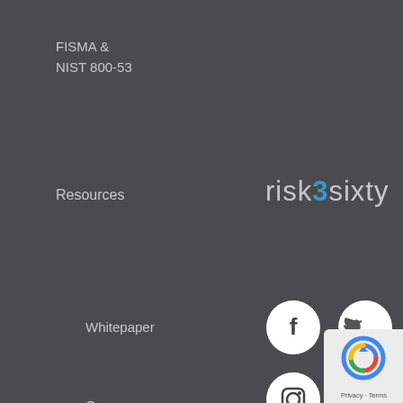FISMA &
NIST 800-53
Resources
[Figure (logo): risk3sixty logo in light grey text with blue '3']
Whitepaper
[Figure (illustration): Four social media icon circles: Facebook, Twitter, Instagram, LinkedIn]
Our Company
Privacy Policy
408 S Atlanta St. Suite 180 Roswell, GA 30075 (404)
[Figure (logo): Google reCAPTCHA badge with Privacy and Terms text]